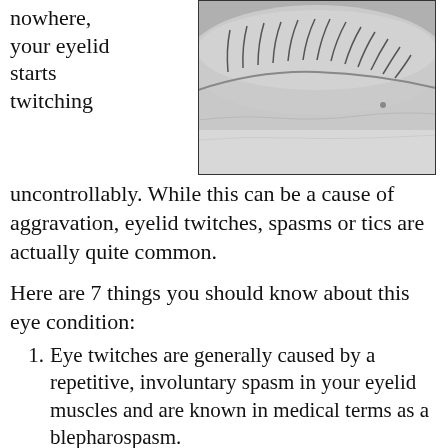nowhere, your eyelid starts twitching uncontrollably. While this can be a cause of aggravation, eyelid twitches, spasms or tics are actually quite common.
[Figure (photo): Close-up black and white photograph of a human eye showing the upper eyelid and eyelashes in detail.]
Here are 7 things you should know about this eye condition:
Eye twitches are generally caused by a repetitive, involuntary spasm in your eyelid muscles and are known in medical terms as a blepharospasm.
Almost all sudden-onset eye twitching is not considered to be a serious medical condition, though it can be hard to treat without knowing the underlying cause.
Eyelid twitches can occur sporadically, though